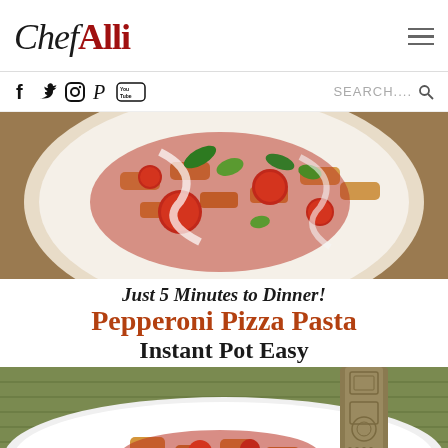ChefAlli
[Figure (screenshot): Social media icons: Facebook, Twitter, Instagram, Pinterest, YouTube, and a search bar with magnifying glass icon]
[Figure (photo): Bowl of pepperoni pizza pasta with rigatoni, pepperoni slices, green peppers, melted cheese and tomato sauce, viewed from above]
Just 5 Minutes to Dinner! Pepperoni Pizza Pasta Instant Pot Easy
[Figure (photo): Close-up of a decorative fork with pepperoni pizza pasta including rigatoni, green peppers, and tomato sauce on a white plate with woven mat background]